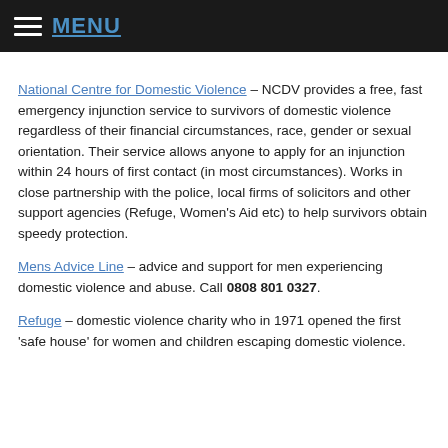MENU
National Centre for Domestic Violence – NCDV provides a free, fast emergency injunction service to survivors of domestic violence regardless of their financial circumstances, race, gender or sexual orientation. Their service allows anyone to apply for an injunction within 24 hours of first contact (in most circumstances). Works in close partnership with the police, local firms of solicitors and other support agencies (Refuge, Women's Aid etc) to help survivors obtain speedy protection.
Mens Advice Line – advice and support for men experiencing domestic violence and abuse. Call 0808 801 0327.
Refuge – domestic violence charity who in 1971 opened the first 'safe house' for women and children escaping domestic violence.